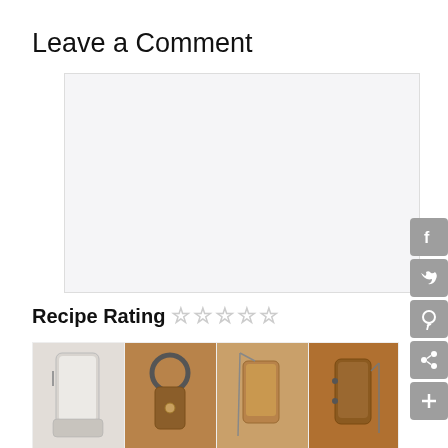Leave a Comment
[Figure (other): Empty comment text area input box with light gray background]
Recipe Rating ☆☆☆☆☆
[Figure (other): Advertisement showing leather phone cases and accessories by NOEMIE brand, with a play/triangle icon]
[Figure (other): Social media sharing sidebar with Facebook, Twitter, Pinterest, share, and add buttons]